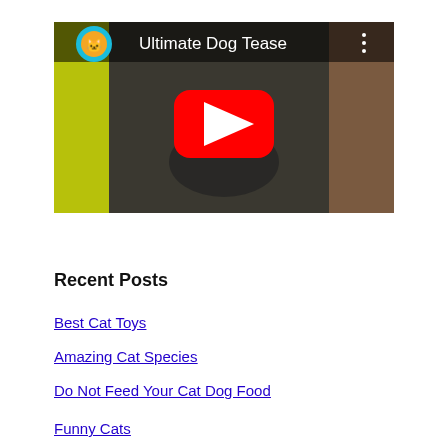[Figure (screenshot): YouTube video thumbnail for 'Ultimate Dog Tease' showing a close-up of a dog's face with a red YouTube play button overlay and a cat avatar icon in the top left corner.]
Recent Posts
Best Cat Toys
Amazing Cat Species
Do Not Feed Your Cat Dog Food
Funny Cats